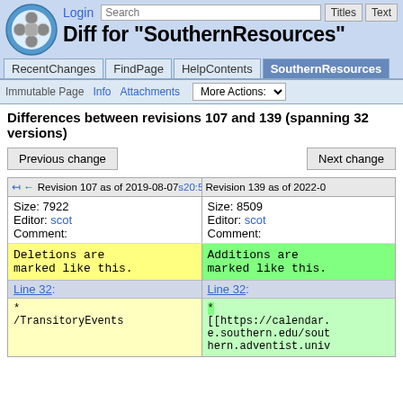Diff for "SouthernResources"
Diff for "SouthernResources"
Differences between revisions 107 and 139 (spanning 32 versions)
| Revision 107 as of 2019-08-07 20:57:39 | Revision 139 as of 2022-03-... |
| --- | --- |
| Size: 7922
Editor: scot
Comment: | Size: 8509
Editor: scot
Comment: |
| Deletions are marked like this. | Additions are marked like this. |
| Line 32: | Line 32: |
| *
/TransitoryEvents | *
[[https://calendar.e.southern.edu/southern.adventist.univ |